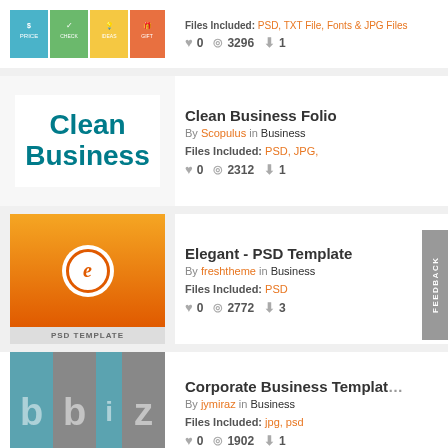[Figure (screenshot): Top partial row: thumbnail of a template with price/check/ideas/gift cards layout]
Files Included: PSD, TXT File, Fonts & JPG Files
0  3296  1
[Figure (screenshot): Clean Business thumbnail - teal text on white background]
Clean Business Folio
By Scopulus in Business
Files Included: PSD, JPG,
0  2312  1
[Figure (screenshot): Elegant PSD Template thumbnail - orange gradient background with white circle letter e logo, gray bar with PSD TEMPLATE text]
Elegant - PSD Template
By freshtheme in Business
Files Included: PSD
0  2772  3
[Figure (screenshot): Corporate Business Template thumbnail - teal and gray panel design with bbiz letters]
Corporate Business Template
By jymiraz in Business
Files Included: jpg, psd
0  1902  1